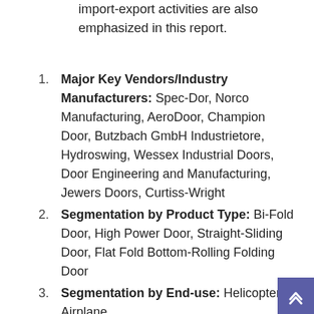import-export activities are also emphasized in this report.
Major Key Vendors/Industry Manufacturers: Spec-Dor, Norco Manufacturing, AeroDoor, Champion Door, Butzbach GmbH Industrietore, Hydroswing, Wessex Industrial Doors, Door Engineering and Manufacturing, Jewers Doors, Curtiss-Wright
Segmentation by Product Type: Bi-Fold Door, High Power Door, Straight-Sliding Door, Flat Fold Bottom-Rolling Folding Door
Segmentation by End-use: Helicopter, Airplane